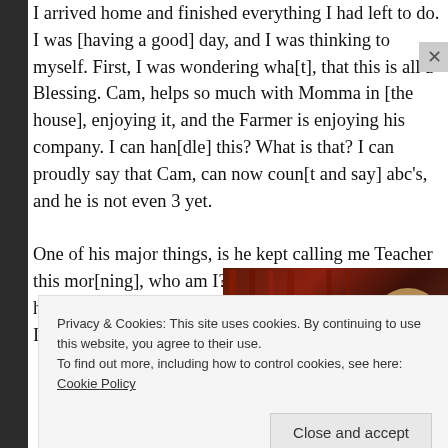I arrived home and finished everything I had left to do.  I was [having a good] day, and I was thinking to myself.  First, I was wondering what [to think], that this is all a Blessing.  Cam, helps so much with Momma in [the house], enjoying it, and the Farmer is enjoying his company.  I can han[dle] this? What is that?   I can proudly say that Cam, can now count [and say] abc's, and he is not even 3 yet.

One of his major things, is he kept calling me Teacher this mor[ning], who am I?  He looked at me, and then he said Meemaw.    So, [I] guess I am a Teacher too.  I'm cool with that………
[Figure (photo): Partial photo showing dark red/brown chairs and a person with blonde/brown hair, partially visible at right edge.]
Privacy & Cookies: This site uses cookies. By continuing to use this website, you agree to their use.
To find out more, including how to control cookies, see here: Cookie Policy
Close and accept